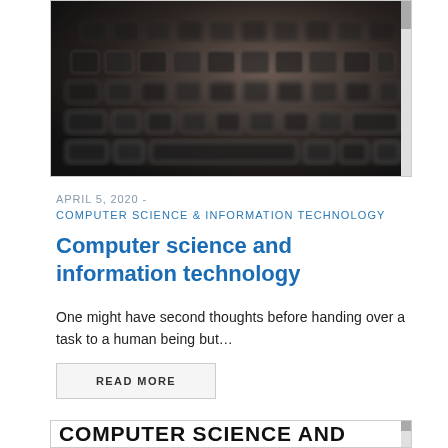[Figure (photo): Close-up photo of a dark laptop keyboard with blurred keys, dark moody tone]
APRIL 5, 2020  -
COMPUTER SCIENCE & INFORMATION TECHNOLOGY
Computer science and information technology
One might have second thoughts before handing over a task to a human being but…
READ MORE
COMPUTER SCIENCE AND